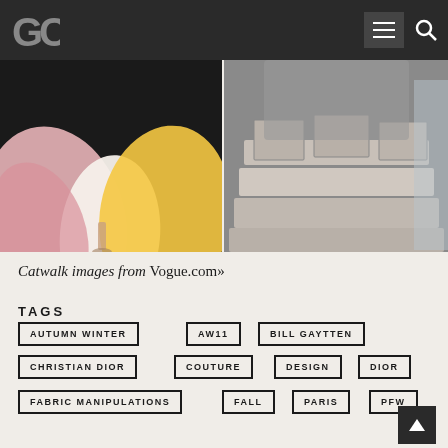GC logo and navigation bar
[Figure (photo): Catwalk photo showing colorful voluminous skirts in pink, white and yellow]
[Figure (photo): Catwalk photo showing layered ruffle skirt in grey/beige tones]
Catwalk images from Vogue.com»
TAGS
AUTUMN WINTER
AW11
BILL GAYTTEN
CHRISTIAN DIOR
COUTURE
DESIGN
DIOR
FABRIC MANIPULATIONS
FALL
PARIS
PFW